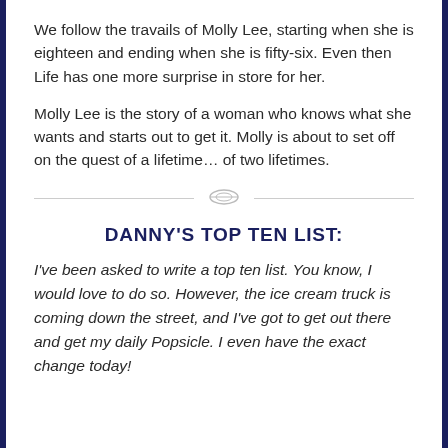We follow the travails of Molly Lee, starting when she is eighteen and ending when she is fifty-six. Even then Life has one more surprise in store for her.
Molly Lee is the story of a woman who knows what she wants and starts out to get it. Molly is about to set off on the quest of a lifetime… of two lifetimes.
DANNY'S TOP TEN LIST:
I've been asked to write a top ten list. You know, I would love to do so. However, the ice cream truck is coming down the street, and I've got to get out there and get my daily Popsicle. I even have the exact change today!